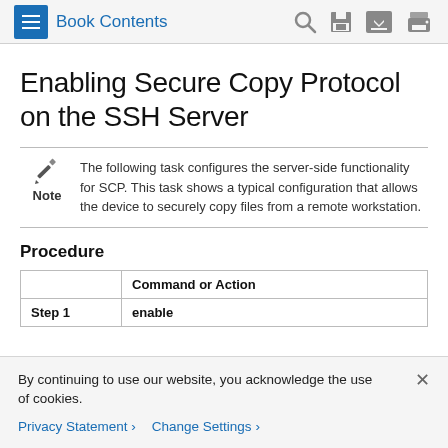Book Contents
Enabling Secure Copy Protocol on the SSH Server
The following task configures the server-side functionality for SCP. This task shows a typical configuration that allows the device to securely copy files from a remote workstation.
Procedure
|  | Command or Action |
| --- | --- |
| Step 1 | enable |
By continuing to use our website, you acknowledge the use of cookies.
Privacy Statement › Change Settings ›